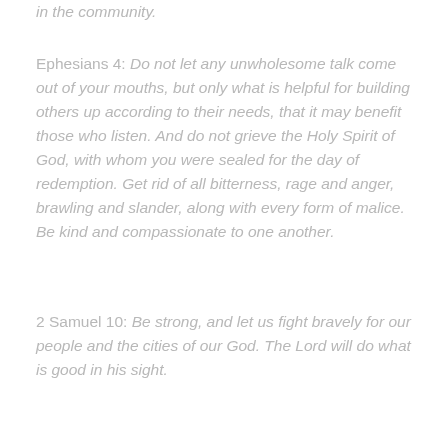in the community.
Ephesians 4: Do not let any unwholesome talk come out of your mouths, but only what is helpful for building others up according to their needs, that it may benefit those who listen. And do not grieve the Holy Spirit of God, with whom you were sealed for the day of redemption. Get rid of all bitterness, rage and anger, brawling and slander, along with every form of malice. Be kind and compassionate to one another.
2 Samuel 10: Be strong, and let us fight bravely for our people and the cities of our God. The Lord will do what is good in his sight.